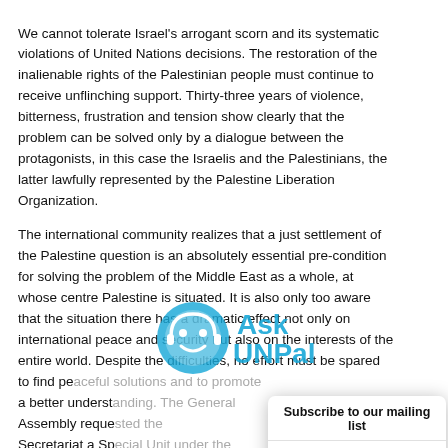We cannot tolerate Israel's arrogant scorn and its systematic violations of United Nations decisions. The restoration of the inalienable rights of the Palestinian people must continue to receive unflinching support. Thirty-three years of violence, bitterness, frustration and tension show clearly that the problem can be solved only by a dialogue between the protagonists, in this case the Israelis and the Palestinians, the latter lawfully represented by the Palestine Liberation Organization.
The international community realizes that a just settlement of the Palestine question is an absolutely essential pre-condition for solving the problem of the Middle East as a whole, at whose centre Palestine is situated. It is also only too aware that the situation there has a dramatic effect not only on international peace and security but also on the interests of the entire world. Despite the difficulties, no effort must be spared to find pe... a better underst... Assembly reque... Secretariat a Sp... guidance of and... the Inalienable R... for disseminatin... familiarizing the... prepared severa... been widely dist...
[Figure (logo): AskUNPal watermark/logo with circular icon and blue text]
Subscribe to our mailing list
Sign-up to get UN updates, incoming events straight to your inbox
SUBSCRIBE!
You can unsubscribe anytime